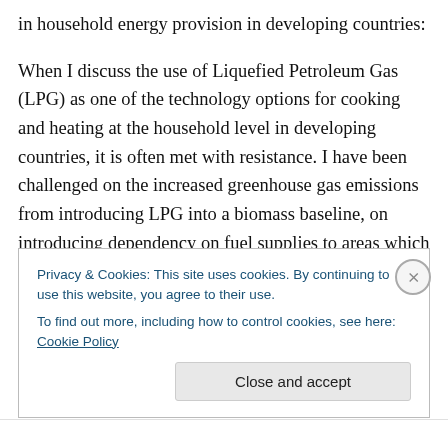in household energy provision in developing countries:
When I discuss the use of Liquefied Petroleum Gas (LPG) as one of the technology options for cooking and heating at the household level in developing countries, it is often met with resistance. I have been challenged on the increased greenhouse gas emissions from introducing LPG into a biomass baseline, on introducing dependency on fuel supplies to areas which are self-sufficient and also introducing the dangers of market and price fluctuations to households with limited incomes.  All of these are valid
Privacy & Cookies: This site uses cookies. By continuing to use this website, you agree to their use.
To find out more, including how to control cookies, see here: Cookie Policy